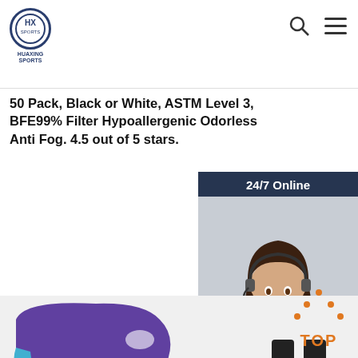HUAXING SPORTS
50 Pack, Black or White, ASTM Level 3, BFE99% Filter Hypoallergenic Odorless Anti Fog. 4.5 out of 5 stars.
Get Price
[Figure (screenshot): 24/7 Online customer service widget with photo of woman with headset, 'Click here for free chat!' text, and QUOTATION button]
[Figure (photo): Purple life jacket/swim vest product image with buckles and colored stripes]
[Figure (other): TOP navigation button with orange triangle dots icon]